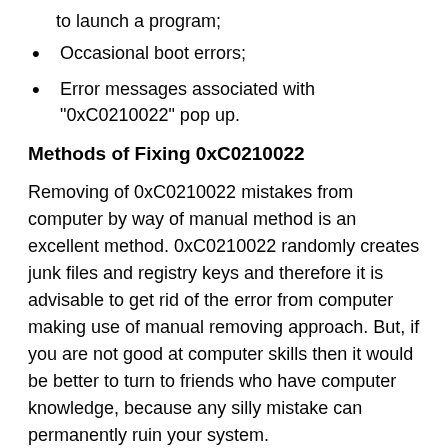to launch a program;
Occasional boot errors;
Error messages associated with "0xC0210022" pop up.
Methods of Fixing 0xC0210022
Removing of 0xC0210022 mistakes from computer by way of manual method is an excellent method. 0xC0210022 randomly creates junk files and registry keys and therefore it is advisable to get rid of the error from computer making use of manual removing approach. But, if you are not good at computer skills then it would be better to turn to friends who have computer knowledge, because any silly mistake can permanently ruin your system.
1.Click below free download button and get it installed on your PC.